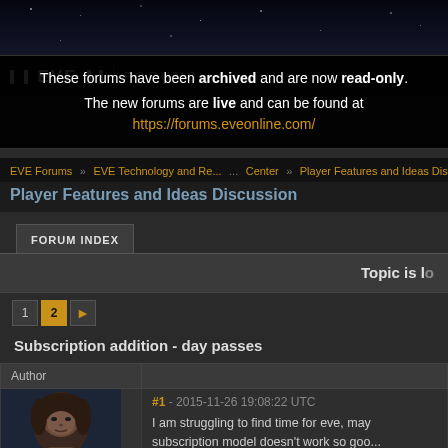[Figure (screenshot): EVE Online forum screenshot showing archived forum notice and a forum post about subscription day passes]
These forums have been archived and are now read-only. The new forums are live and can be found at https://forums.eveonline.com/
EVE Forums > EVE Technology and Resources Center > Player Features and Ideas Discussion
Player Features and Ideas Discussion
FORUM INDEX
Topic is lo...
Subscription addition - day passes
Author
#1 - 2015-11-26 19:08:22 UTC
I am struggling to find time for eve, may subscription model doesn't work so goo...